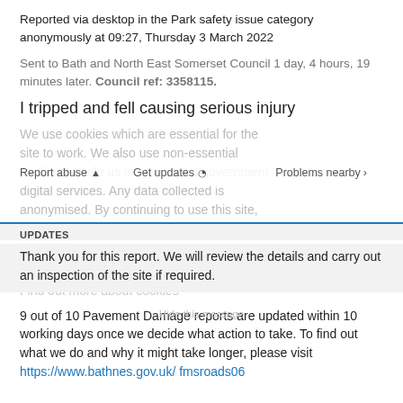Reported via desktop in the Park safety issue category anonymously at 09:27, Thursday 3 March 2022
Sent to Bath and North East Somerset Council 1 day, 4 hours, 19 minutes later. Council ref: 3358115.
I tripped and fell causing serious injury
We use cookies which are essential for the site to work. We also use non-essential cookies to help us improve local government digital services. Any data collected is anonymised. By continuing to use this site, you agree to our use of cookies. Find out more about cookies
Report abuse | Get updates | Problems nearby
UPDATES
Thank you for this report. We will review the details and carry out an inspection of the site if required.
9 out of 10 Pavement Damage reports are updated within 10 working days once we decide what action to take. To find out what we do and why it might take longer, please visit https://www.bathnes.gov.uk/ fmsroads06
Hide this message